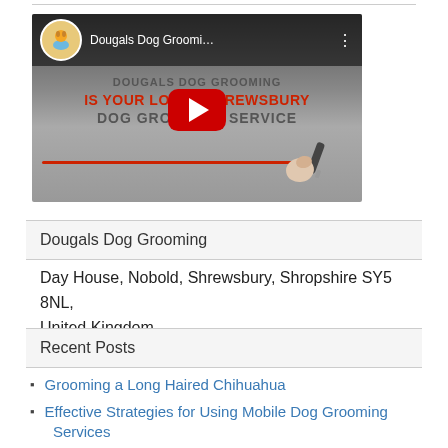[Figure (screenshot): YouTube video thumbnail for Dougals Dog Grooming showing a play button, channel icon, and text about Shrewsbury dog grooming service]
Dougals Dog Grooming
Day House, Nobold, Shrewsbury, Shropshire SY5 8NL, United Kingdom
Recent Posts
Grooming a Long Haired Chihuahua
Effective Strategies for Using Mobile Dog Grooming Services